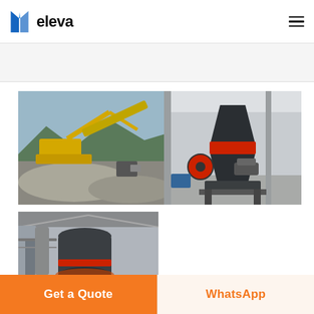[Figure (logo): Eleva company logo with stylized book/door icon and the word 'eleva' in bold]
[Figure (photo): Live chat bubble icon with speech bubble and 'LIVE CHAT' text]
[Figure (photo): Outdoor quarrying/crushing plant with yellow excavator machinery and gravel piles]
[Figure (photo): Industrial cone crusher machine indoors on warehouse floor]
[Figure (photo): Large industrial mill or cone crusher inside a factory building]
Get a Quote
WhatsApp